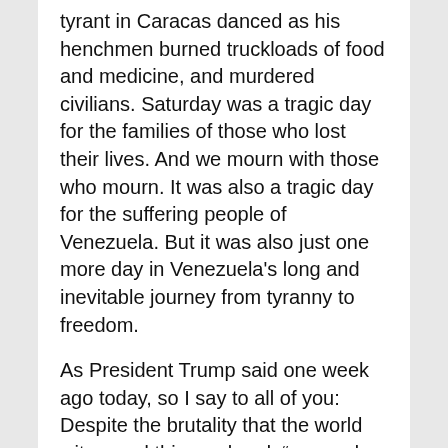tyrant in Caracas danced as his henchmen burned truckloads of food and medicine, and murdered civilians. Saturday was a tragic day for the families of those who lost their lives. And we mourn with those who mourn. It was also a tragic day for the suffering people of Venezuela.  But it was also just one more day in Venezuela's long and inevitable journey from tyranny to freedom.
As President Trump said one week ago today, so I say to all of you: Despite the brutality that the world witnessed this weekend, “a new day is coming in Latin America…In Venezuela and across the Western Hemisphere, socialism is dying, and liberty, prosperity, and democracy are being reborn” before our eyes.
And, President Guaidó, President Donald Trump asked me to be here today to deliver a simple message to you and to the people of